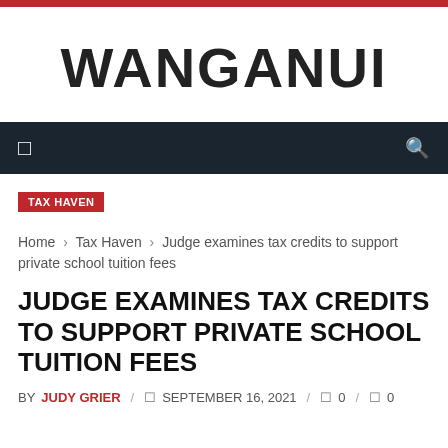WANGANUI
TAX HAVEN
Home › Tax Haven › Judge examines tax credits to support private school tuition fees
JUDGE EXAMINES TAX CREDITS TO SUPPORT PRIVATE SCHOOL TUITION FEES
BY JUDY GRIER / SEPTEMBER 16, 2021 / 0 / 0